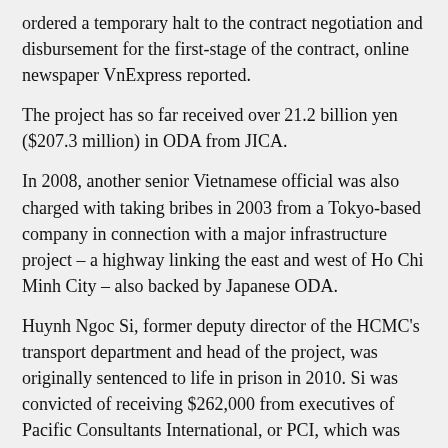ordered a temporary halt to the contract negotiation and disbursement for the first-stage of the contract, online newspaper VnExpress reported.
The project has so far received over 21.2 billion yen ($207.3 million) in ODA from JICA.
In 2008, another senior Vietnamese official was also charged with taking bribes in 2003 from a Tokyo-based company in connection with a major infrastructure project – a highway linking the east and west of Ho Chi Minh City – also backed by Japanese ODA.
Huynh Ngoc Si, former deputy director of the HCMC's transport department and head of the project, was originally sentenced to life in prison in 2010. Si was convicted of receiving $262,000 from executives of Pacific Consultants International, or PCI, which was hired as a consultant on the project.
An appeal reduced his sentence to 20 years in 2011.
The case rocked the country, prompting Japan, then Vietnam's biggest donor country, to suspend hundreds